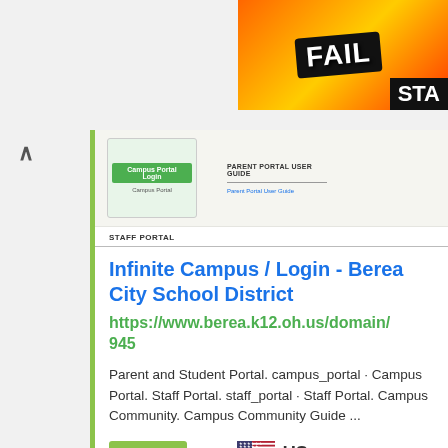[Figure (screenshot): FAIL advertisement banner with cartoon character and flames, partially cut off with 'STA' text visible at right edge]
[Figure (screenshot): Thumbnail of a webpage showing Campus Portal Login green button and Parent Portal User Guide text with Staff Portal section]
Infinite Campus / Login - Berea City School District
https://www.berea.k12.oh.us/domain/945
Parent and Student Portal. campus_portal · Campus Portal. Staff Portal. staff_portal · Staff Portal. Campus Community. Campus Community Guide ...
646,894
Pageviews
US
Top Country